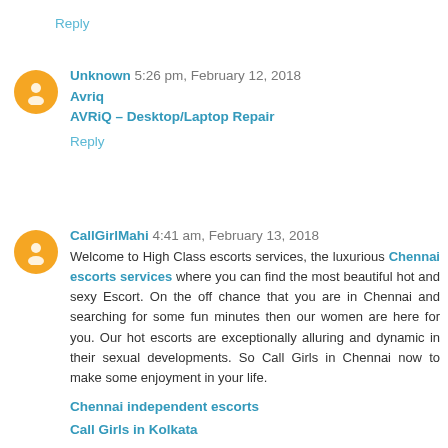Reply
Unknown 5:26 pm, February 12, 2018
Avriq
AVRiQ – Desktop/Laptop Repair
Reply
CallGirlMahi 4:41 am, February 13, 2018
Welcome to High Class escorts services, the luxurious Chennai escorts services where you can find the most beautiful hot and sexy Escort. On the off chance that you are in Chennai and searching for some fun minutes then our women are here for you. Our hot escorts are exceptionally alluring and dynamic in their sexual developments. So Call Girls in Chennai now to make some enjoyment in your life.
Chennai independent escorts
Call Girls in Kolkata